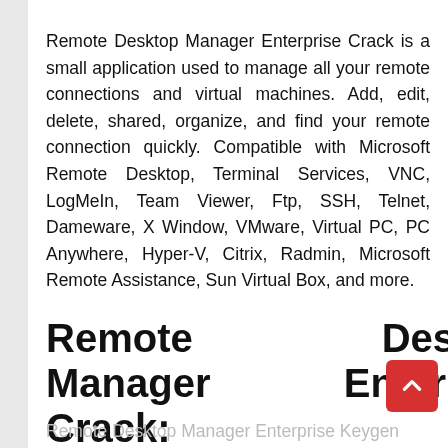Remote Desktop Manager Enterprise Crack is a small application used to manage all your remote connections and virtual machines. Add, edit, delete, shared, organize, and find your remote connection quickly. Compatible with Microsoft Remote Desktop, Terminal Services, VNC, LogMeIn, Team Viewer, Ftp, SSH, Telnet, Dameware, X Window, VMware, Virtual PC, PC Anywhere, Hyper-V, Citrix, Radmin, Microsoft Remote Assistance, Sun Virtual Box, and more.
Remote Desktop Manager Enterprise Crack:
Remote Desktop Manager Enterprise Keygen